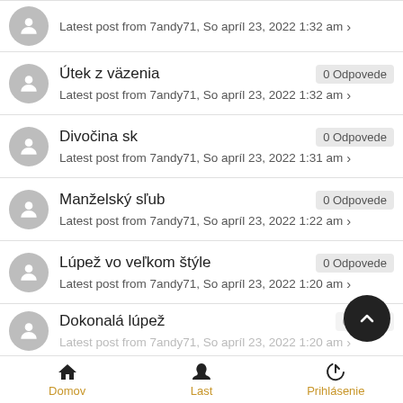Latest post from 7andy71, So apríl 23, 2022 1:32 am
Útek z väzenia — 0 Odpovede — Latest post from 7andy71, So apríl 23, 2022 1:32 am
Divočina sk — 0 Odpovede — Latest post from 7andy71, So apríl 23, 2022 1:31 am
Manželský sľub — 0 Odpovede — Latest post from 7andy71, So apríl 23, 2022 1:22 am
Lúpež vo veľkom štýle — 0 Odpovede — Latest post from 7andy71, So apríl 23, 2022 1:20 am
Dokonalá lúpež — 0 Odpovede — Latest post from 7andy71, So apríl 23, 2022 1:20 am
Domov | Last | Prihlásenie